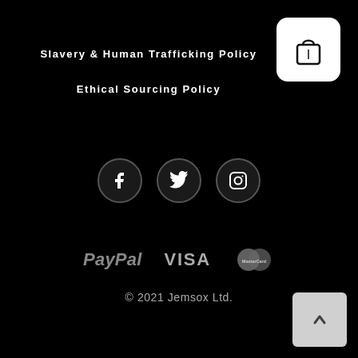[Figure (logo): Shopping bag icon in white rounded square on black background]
Slavery & Human Trafficking Policy
Ethical Sourcing Policy
[Figure (other): Social media icons: Facebook, Twitter, Instagram in dark circles]
[Figure (other): Payment logos: PayPal, VISA, MasterCard in grey]
© 2021 Jemsox Ltd.
[Figure (other): Back to top button - grey rounded square with upward arrow]